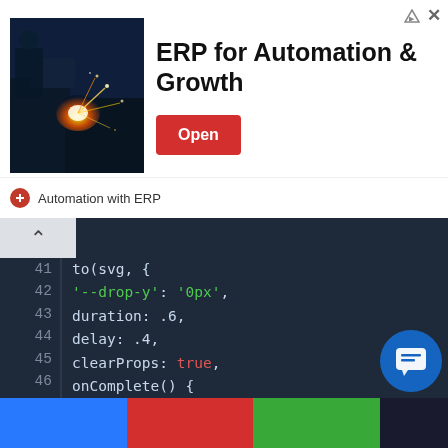[Figure (screenshot): Advertisement banner: welding/industrial image on left, 'ERP for Automation & Growth' title with red Open button on right, 'Automation with ERP' brand label below]
[Figure (screenshot): Code editor showing JavaScript code lines 41-59 with syntax highlighting on dark background. Code includes CSS animation properties ('--drop-y': '0px', duration, delay, clearProps: true), onComplete handler with input.removeAttrib, closing braces, document.querySelectorAll('.checkbox'), let svg = elem.querySelector('sv'), input = elem.querySelector(), input.addEventListener('change'), let checked = input.checked, if(!checked) { return]